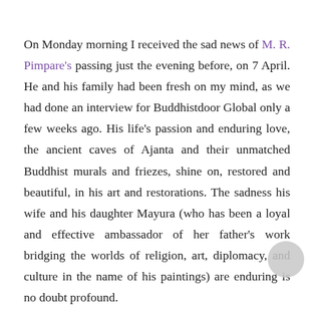On Monday morning I received the sad news of M. R. Pimpare's passing just the evening before, on 7 April. He and his family had been fresh on my mind, as we had done an interview for Buddhistdoor Global only a few weeks ago. His life's passion and enduring love, the ancient caves of Ajanta and their unmatched Buddhist murals and friezes, shine on, restored and beautiful, in his art and restorations. The sadness his wife and his daughter Mayura (who has been a loyal and effective ambassador of her father's work bridging the worlds of religion, art, diplomacy, and culture in the name of his paintings) are enduring is no doubt profound.
In this world, it is a frequent and heartbreaking fact that those who depart unexpectedly are often those who